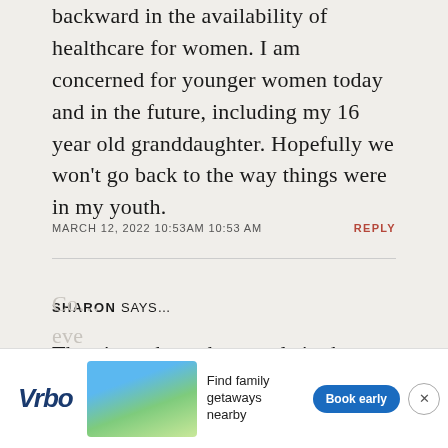backward in the availability of healthcare for women. I am concerned for younger women today and in the future, including my 16 year old granddaughter. Hopefully we won't go back to the way things were in my youth.
MARCH 12, 2022 10:53AM 10:53 AM
REPLY
SHARON SAYS...
The piece about the murals in that French town reminded me of similar murals in Quebec… wonderful!
Co... l, eve...
[Figure (other): Vrbo advertisement banner: Vrbo logo, beach house image, text 'Find family getaways nearby', blue 'Book early' button, close button]